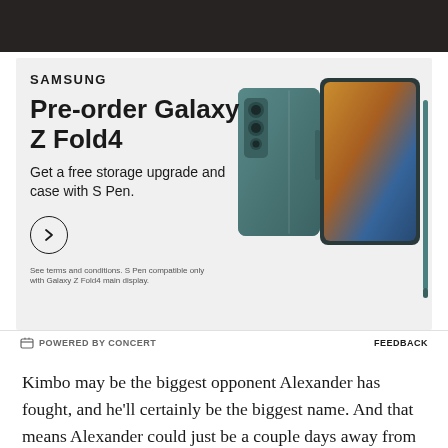[Figure (photo): Dark background photo at the top of the page]
[Figure (illustration): Samsung advertisement for Galaxy Z Fold4 pre-order. Text reads: SAMSUNG, Pre-order Galaxy Z Fold4, Get a free storage upgrade and case with S Pen. Arrow button shown. Fine print: See terms and conditions. S Pen compatible only with Galaxy Z Fold4 main display. Product image of teal Galaxy Z Fold4 with S Pen shown on right.]
POWERED BY CONCERT   FEEDBACK
Kimbo may be the biggest opponent Alexander has fought, and he'll certainly be the biggest name. And that means Alexander could just be a couple days away from his biggest win.